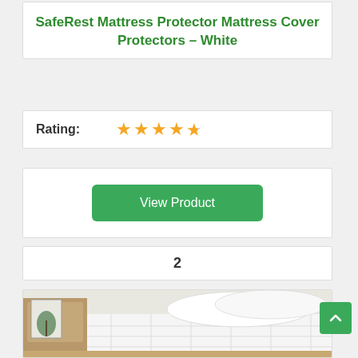SafeRest Mattress Protector Mattress Cover Protectors – White
Rating: ★★★★½
View Product
2
[Figure (photo): A white mattress pad/topper with pillow on a bed, with a nightstand and plant art in the background.]